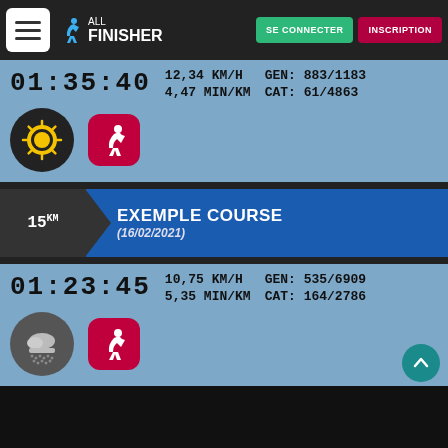ALL FINISHER — SE CONNECTER — INSCRIPTION
01:35:40  12,34 KM/H  GEN: 883/1183  4,47 MIN/KM  CAT: 61/4863
[Figure (logo): Sun icon and runner icon for first race entry]
EXEMPLE COURSE (16/02/2021) — 15km
01:23:45  10,75 KM/H  GEN: 535/6909  5,35 MIN/KM  CAT: 164/2786
[Figure (illustration): Rain/cloud icon and runner icon for second race entry]